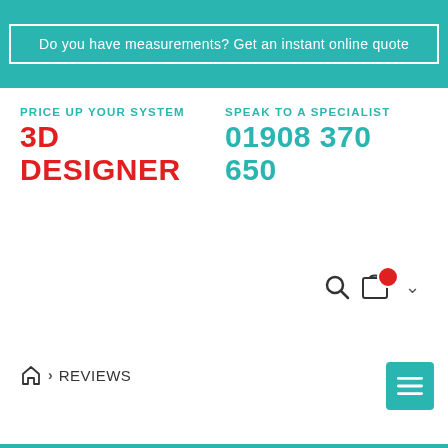Do you have measurements? Get an instant online quote
PRICE UP YOUR SYSTEM
3D DESIGNER
SPEAK TO A SPECIALIST
01908 370 650
[Figure (infographic): Search icon, shopping cart icon with red badge, and chevron dropdown icon]
REVIEWS
[Figure (other): Hamburger menu button (teal square with three white lines)]